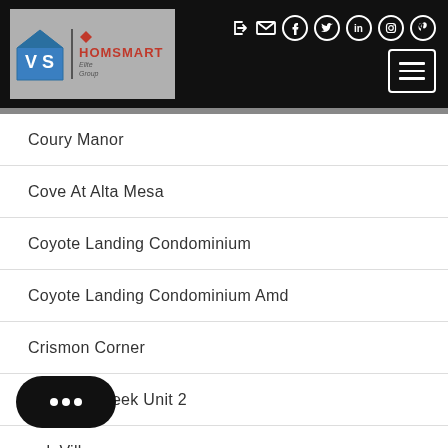[Figure (logo): Website header with black background. Left side: The Value Solutions Team and HomeSmart Elite Group logo on gray background. Right side: social media icons (login, email, Facebook, Twitter, LinkedIn, Instagram, Pinterest) and hamburger menu button.]
Coury Manor
Cove At Alta Mesa
Coyote Landing Condominium
Coyote Landing Condominium Amd
Crismon Corner
Crismon Creek Unit 2
Creek Village